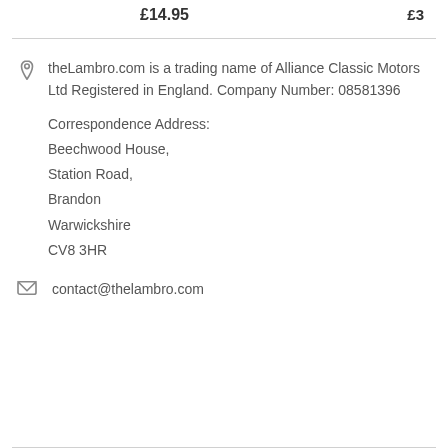£14.95
£3...
theLambro.com is a trading name of Alliance Classic Motors Ltd Registered in England. Company Number: 08581396
Correspondence Address:
Beechwood House,
Station Road,
Brandon
Warwickshire
CV8 3HR
contact@thelambro.com